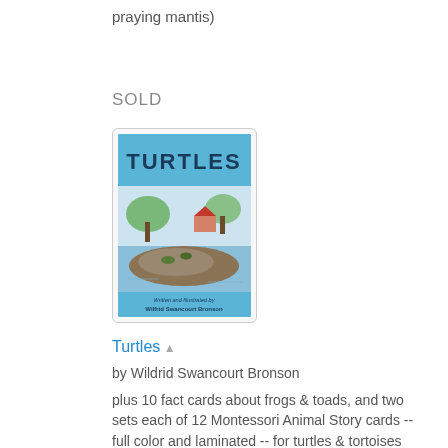praying mantis)
SOLD
[Figure (illustration): Book cover of 'Turtles' by Wilfrid Swancourt Bronson, showing a colorful illustrated cover with turtles on a rock in a pond, trees and a house in the background, blue header with title 'TURTLES' in dark text.]
Turtles
by Wildrid Swancourt Bronson
plus 10 fact cards about frogs & toads, and two sets each of 12 Montessori Animal Story cards -- full color and laminated -- for turtles & tortoises (Green Turtle Wood Turtle, Desert Tortoise, Western Pond Turtle, Spiny Softshell,